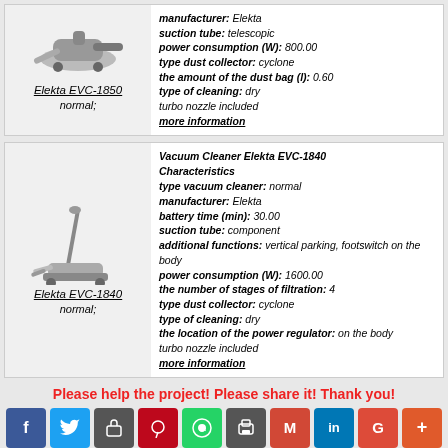[Figure (photo): Elekta EVC-1850 vacuum cleaner product image (handheld style)]
Elekta EVC-1850
normal;
manufacturer: Elekta
suction tube: telescopic
power consumption (W): 800.00
type dust collector: cyclone
the amount of the dust bag (l): 0.60
type of cleaning: dry
turbo nozzle included
more information
[Figure (photo): Elekta EVC-1840 vacuum cleaner product image (upright stick style)]
Elekta EVC-1840
normal;
Vacuum Cleaner Elekta EVC-1840 Characteristics
type vacuum cleaner: normal
manufacturer: Elekta
battery time (min): 30.00
suction tube: component
additional functions: vertical parking, footswitch on the body
power consumption (W): 1600.00
the number of stages of filtration: 4
type dust collector: cyclone
type of cleaning: dry
the location of the power regulator: on the body
turbo nozzle included
more information
Please help the project! Please share it! Thank you!
[Figure (infographic): Row of social sharing buttons: Facebook, Twitter, Share, Pinterest, WhatsApp, Print, Gmail, LinkedIn, Google+, More]
https://mentefeliz.info/en/vacuum_cleaners/prod